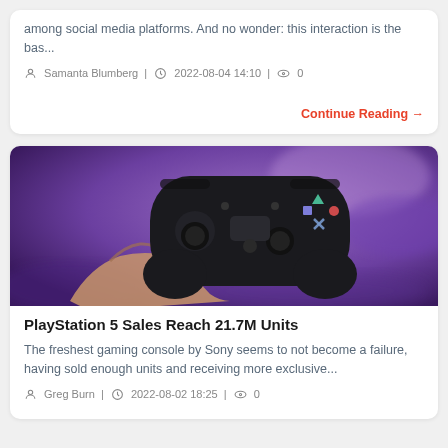among social media platforms. And no wonder: this interaction is the bas...
Samanta Blumberg | 2022-08-04 14:10 | 0
Continue Reading →
[Figure (photo): A hand holding a black PlayStation DualShock controller against a blurred purple-lit background]
PlayStation 5 Sales Reach 21.7M Units
The freshest gaming console by Sony seems to not become a failure, having sold enough units and receiving more exclusive...
Greg Burn | 2022-08-02 18:25 | 0